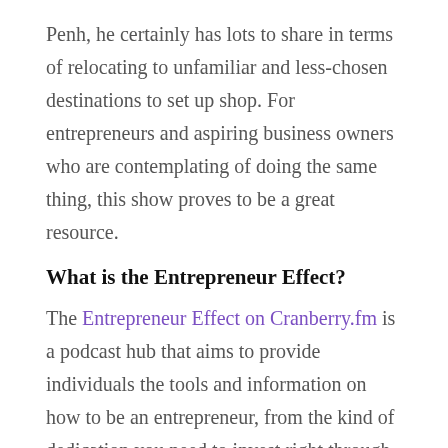Penh, he certainly has lots to share in terms of relocating to unfamiliar and less-chosen destinations to set up shop. For entrepreneurs and aspiring business owners who are contemplating of doing the same thing, this show proves to be a great resource.
What is the Entrepreneur Effect?
The Entrepreneur Effect on Cranberry.fm is a podcast hub that aims to provide individuals the tools and information on how to be an entrepreneur, from the kind of dedication you need to invest right through to insights from industry leaders and professionals.